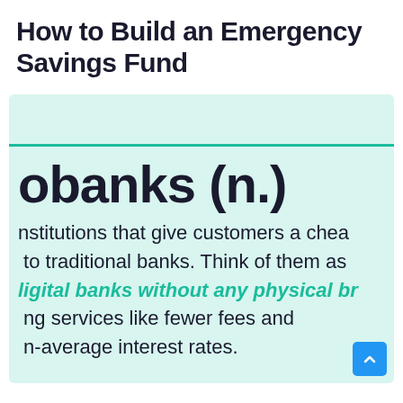How to Build an Emergency Savings Fund
neobanks (n.) Financial institutions that give customers a cheaper alternative to traditional banks. Think of them as digital banks without any physical branches, offering services like fewer fees and higher-than-average interest rates.